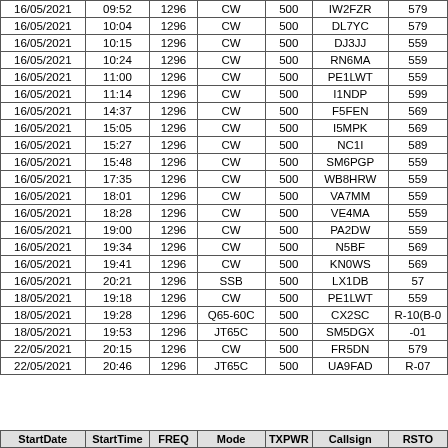| StartDate | StartTime | FREQ | Mode | TXPWR | Callsign | RSTO |
| --- | --- | --- | --- | --- | --- | --- |
| 16/05/2021 | 09:52 | 1296 | CW | 500 | IW2FZR | 579 |
| 16/05/2021 | 10:04 | 1296 | CW | 500 | DL7YC | 579 |
| 16/05/2021 | 10:15 | 1296 | CW | 500 | DJ3JJ | 559 |
| 16/05/2021 | 10:24 | 1296 | CW | 500 | RN6MA | 559 |
| 16/05/2021 | 11:00 | 1296 | CW | 500 | PE1LWT | 559 |
| 16/05/2021 | 11:14 | 1296 | CW | 500 | I1NDP | 599 |
| 16/05/2021 | 14:37 | 1296 | CW | 500 | F5FEN | 569 |
| 16/05/2021 | 15:05 | 1296 | CW | 500 | I5MPK | 569 |
| 16/05/2021 | 15:27 | 1296 | CW | 500 | NC1I | 589 |
| 16/05/2021 | 15:48 | 1296 | CW | 500 | SM6PGP | 559 |
| 16/05/2021 | 17:35 | 1296 | CW | 500 | WB8HRW | 559 |
| 16/05/2021 | 18:01 | 1296 | CW | 500 | VA7MM | 559 |
| 16/05/2021 | 18:28 | 1296 | CW | 500 | VE4MA | 559 |
| 16/05/2021 | 19:00 | 1296 | CW | 500 | PA2DW | 559 |
| 16/05/2021 | 19:34 | 1296 | CW | 500 | N5BF | 569 |
| 16/05/2021 | 19:41 | 1296 | CW | 500 | KN0WS | 569 |
| 16/05/2021 | 20:21 | 1296 | SSB | 500 | LX1DB | 57 |
| 18/05/2021 | 19:18 | 1296 | CW | 500 | PE1LWT | 559 |
| 18/05/2021 | 19:28 | 1296 | Q65-60C | 500 | CX2SC | R-10(B-0 |
| 18/05/2021 | 19:53 | 1296 | JT65C | 500 | SM5DGX | -01 |
| 22/05/2021 | 20:15 | 1296 | CW | 500 | FR5DN | 579 |
| 22/05/2021 | 20:46 | 1296 | JT65C | 500 | UA9FAD | R-07 |
| StartDate | StartTime | FREQ | Mode | TXPWR | Callsign | RSTO |
| --- | --- | --- | --- | --- | --- | --- |